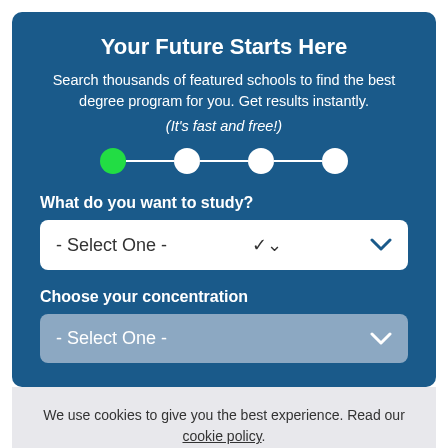Your Future Starts Here
Search thousands of featured schools to find the best degree program for you. Get results instantly. (It's fast and free!)
[Figure (infographic): Step progress indicator with 4 dots connected by lines; first dot is green (active), rest are white]
What do you want to study?
- Select One -
Choose your concentration
- Select One -
We use cookies to give you the best experience. Read our cookie policy.
Agree